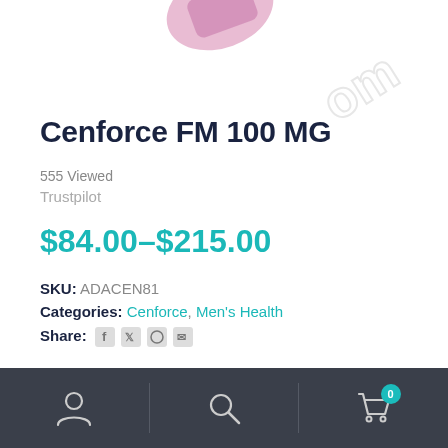[Figure (photo): Partial product image of Cenforce FM 100 MG medication packaging, cropped at the top of the page, with a watermark text visible in the upper right corner.]
Cenforce FM 100 MG
555 Viewed
Trustpilot
$84.00–$215.00
SKU: ADACEN81
Categories: Cenforce, Men's Health
Share:
[Figure (screenshot): Mobile app bottom navigation bar with user/account icon, search icon, and shopping cart icon with badge showing 0.]